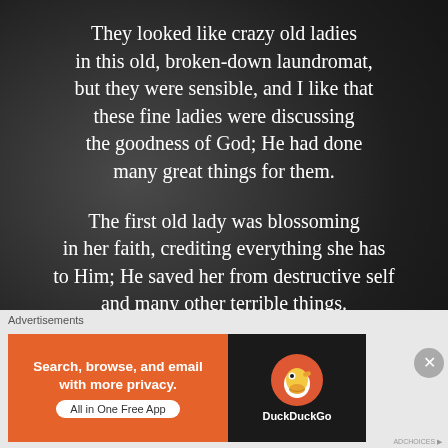They looked like crazy old ladies in this old, broken-down laundromat, but they were sensible, and I like that these fine ladies were discussing the goodness of God; He had done many great things for them.

The first old lady was blossoming in her faith, crediting everything she has to Him; He saved her from destructive self and many other terrible things.

The second old lady quoted the Bible
[Figure (screenshot): DuckDuckGo advertisement banner with orange background on left showing 'Search, browse, and email with more privacy. All in One Free App' and dark right panel with DuckDuckGo duck logo]